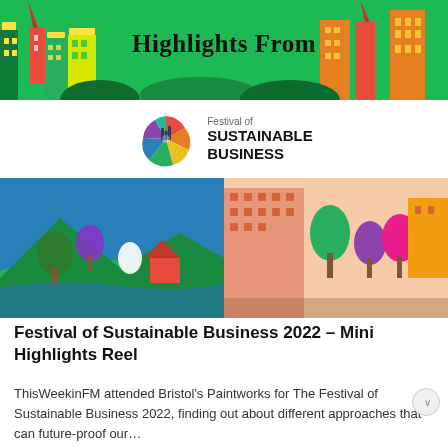Highlights From
[Figure (logo): Festival of Sustainable Business logo with colourful pinwheel/sunburst icon]
[Figure (illustration): Colourful illustrated cityscape with green hills, trees, and buildings — split into two panels]
Festival of Sustainable Business 2022 – Mini Highlights Reel
ThisWeekinFM attended Bristol's Paintworks for The Festival of Sustainable Business 2022, finding out about different approaches that can future-proof our…
Read Full Article
[Figure (photo): Bottom partial photo — black and white on the left, light-coloured panel on the right]